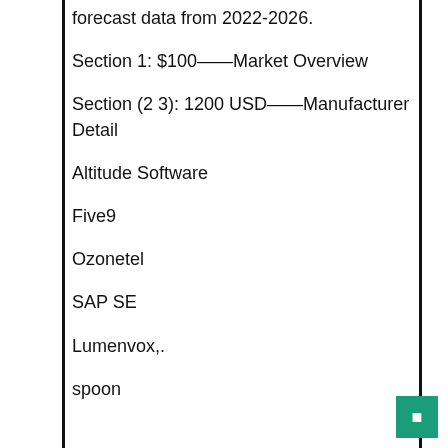forecast data from 2022-2026.
Section 1: $100——Market Overview
Section (2 3): 1200 USD——Manufacturer Detail
Altitude Software
Five9
Ozonetel
SAP SE
Lumenvox,.
spoon